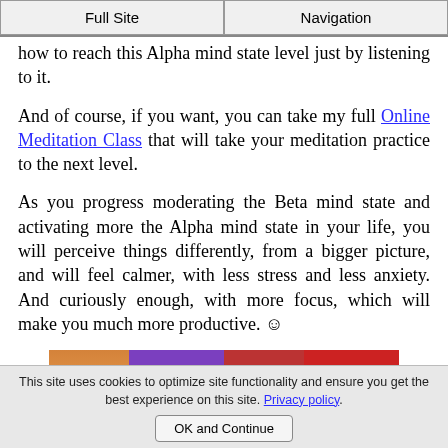Full Site | Navigation
how to reach this Alpha mind state level just by listening to it.
And of course, if you want, you can take my full Online Meditation Class that will take your meditation practice to the next level.
As you progress moderating the Beta mind state and activating more the Alpha mind state in your life, you will perceive things differently, from a bigger picture, and will feel calmer, with less stress and less anxiety. And curiously enough, with more focus, which will make you much more productive. ☺
[Figure (photo): Two promotional banner images side by side: left shows HEALTH with meditation figure on sunset background and purple panel, right shows Attract LOVE with heart shape on red background]
This site uses cookies to optimize site functionality and ensure you get the best experience on this site. Privacy policy
OK and Continue